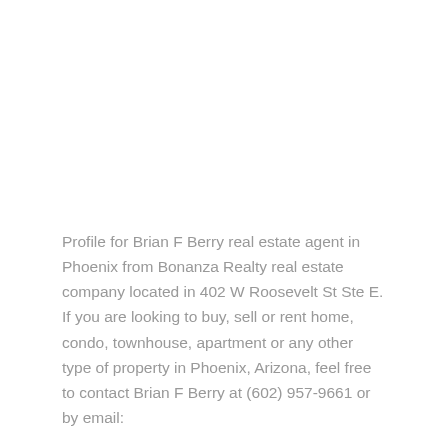Profile for Brian F Berry real estate agent in Phoenix from Bonanza Realty real estate company located in 402 W Roosevelt St Ste E. If you are looking to buy, sell or rent home, condo, townhouse, apartment or any other type of property in Phoenix, Arizona, feel free to contact Brian F Berry at (602) 957-9661 or by email: